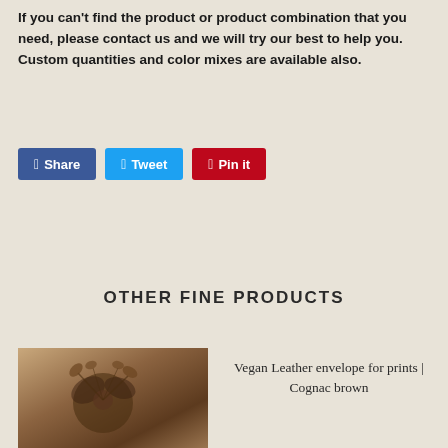If you can't find the product or product combination that you need, please contact us and we will try our best to help you. Custom quantities and color mixes are available also.
[Figure (other): Social sharing buttons: Facebook Share, Twitter Tweet, Pinterest Pin it]
OTHER FINE PRODUCTS
[Figure (photo): Photo of a vegan leather envelope with floral/botanical decorations in brown tones]
Vegan Leather envelope for prints | Cognac brown